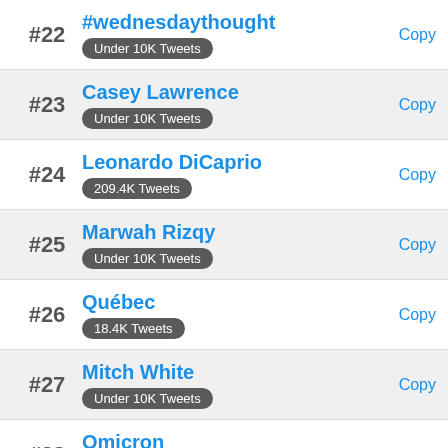#22 | #wednesdaythought | Under 10K Tweets | Copy
#23 | Casey Lawrence | Under 10K Tweets | Copy
#24 | Leonardo DiCaprio | 209.4K Tweets | Copy
#25 | Marwah Rizqy | Under 10K Tweets | Copy
#26 | Québec | 18.4K Tweets | Copy
#27 | Mitch White | Under 10K Tweets | Copy
#28 | Omicron | 38.5K Tweets | Copy